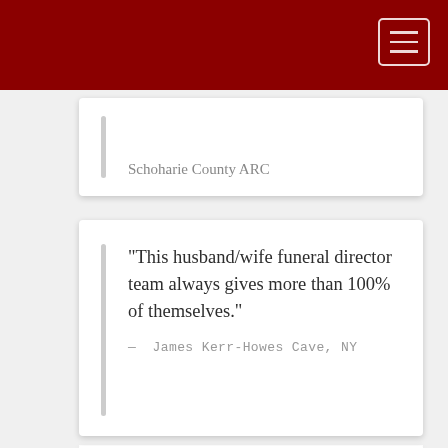Schoharie County ARC
"This husband/wife funeral director team always gives more than 100% of themselves."
— James Kerr-Howes Cave, NY
"Our "Thank You" notes would be incomplete if we did not express our deep appreciation to you both for going "above